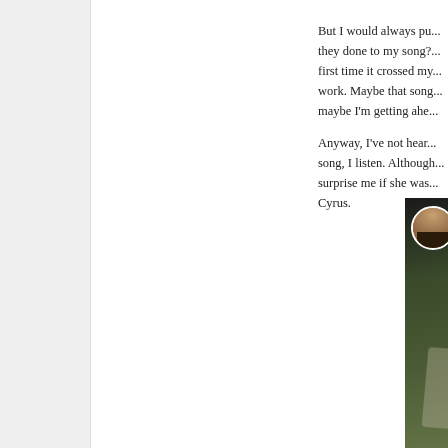But I would always pu... they done to my song?... first time it crossed my... work. Maybe that song... maybe I'm getting ahe...

Anyway, I've not hear... song, I listen. Although... surprise me if she was... Cyrus.
[Figure (photo): A person with dark hair shown in a circular avatar thumbnail and partially visible in a larger photo below, with green foliage background and what appears to be a guitar visible. A bold letter 'M' is displayed next to the avatar.]